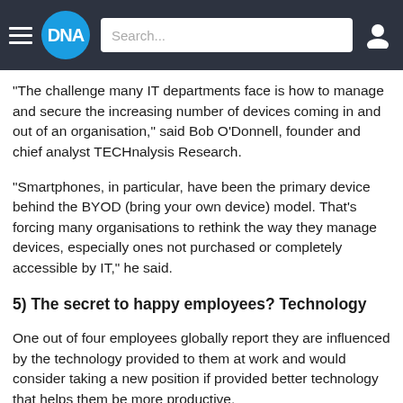DNA
“The challenge many IT departments face is how to manage and secure the increasing number of devices coming in and out of an organisation,” said Bob O’Donnell, founder and chief analyst TECHnalysis Research.
“Smartphones, in particular, have been the primary device behind the BYOD (bring your own device) model. That’s forcing many organisations to rethink the way they manage devices, especially ones not purchased or completely accessible by IT,” he said.
5) The secret to happy employees? Technology
One out of four employees globally report they are influenced by the technology provided to them at work and would consider taking a new position if provided better technology that helps them be more productive.